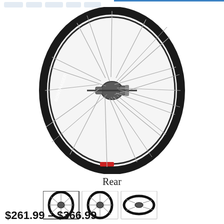[Figure (photo): A bicycle rear wheel with black rim, silver spokes, and a rear hub with cassette body. The rim has white text branding. Viewed from a slight angle showing the full wheel.]
Rear
[Figure (photo): Three thumbnail images of the bicycle wheel: front view, side view, and angled view]
$261.99 – $366.99